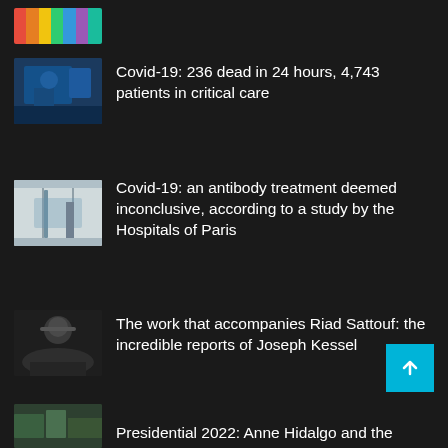[Figure (illustration): Colorful illustrated logo with multiple human figures in various colors]
[Figure (photo): Medical professionals in blue scrubs in a hospital/operating room setting]
Covid-19: 236 dead in 24 hours, 4,743 patients in critical care
[Figure (photo): Hospital corridor with blue curtains and a person in medical attire]
Covid-19: an antibody treatment deemed inconclusive, according to a study by the Hospitals of Paris
[Figure (photo): Portrait of a man with glasses in a dark turtleneck, arms crossed]
The work that accompanies Riad Sattouf: the incredible reports of Joseph Kessel
[Figure (photo): Partial view of an outdoor/nature image at the bottom of the page]
Presidential 2022: Anne Hidalgo and the